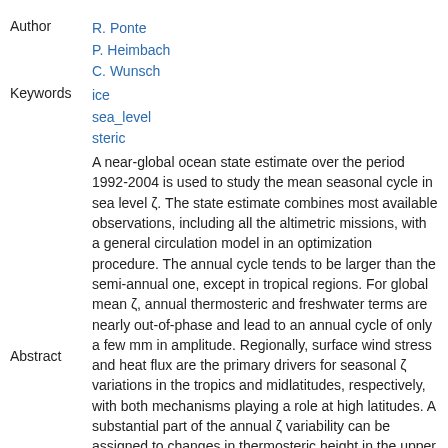Author    R. Ponte
           P. Heimbach
           C. Wunsch
Keywords  ice
           sea_level
           steric
Abstract  A near-global ocean state estimate over the period 1992-2004 is used to study the mean seasonal cycle in sea level ζ. The state estimate combines most available observations, including all the altimetric missions, with a general circulation model in an optimization procedure. The annual cycle tends to be larger than the semi-annual one, except in tropical regions. For global mean ζ, annual thermosteric and freshwater terms are nearly out-of-phase and lead to an annual cycle of only a few mm in amplitude. Regionally, surface wind stress and heat flux are the primary drivers for seasonal ζ variations in the tropics and midlatitudes, respectively, with both mechanisms playing a role at high latitudes. A substantial part of the annual ζ variability can be assigned to changes in thermosteric height in the upper 100 m in midlatitudes and 200 m in the tropics. Bottom pressure variability is larger at high latitudes, and also in some regions in the Southern Ocean and North Pacific. Apparent